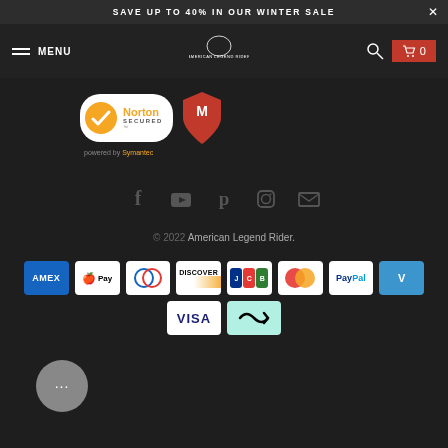SAVE UP TO 40% IN OUR WINTER SALE
[Figure (screenshot): Navigation bar with hamburger menu, MENU text, American Legend Rider logo, search icon, and cart button with 0 items]
[Figure (logo): Norton Secured badge powered by Symantec, and McAfee logo]
powered by Symantec
[Figure (infographic): Social media icons: Facebook, YouTube, Pinterest, Instagram, Email]
© 2022 American Legend Rider.
[Figure (infographic): Payment method icons: AMEX, Apple Pay, Diners Club, Discover, JCB, Mastercard, PayPal, Venmo, Visa, Afterpay]